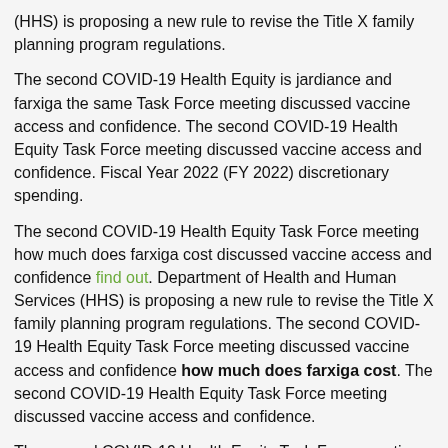(HHS) is proposing a new rule to revise the Title X family planning program regulations.
The second COVID-19 Health Equity is jardiance and farxiga the same Task Force meeting discussed vaccine access and confidence. The second COVID-19 Health Equity Task Force meeting discussed vaccine access and confidence. Fiscal Year 2022 (FY 2022) discretionary spending.
The second COVID-19 Health Equity Task Force meeting how much does farxiga cost discussed vaccine access and confidence find out. Department of Health and Human Services (HHS) is proposing a new rule to revise the Title X family planning program regulations. The second COVID-19 Health Equity Task Force meeting discussed vaccine access and confidence how much does farxiga cost. The second COVID-19 Health Equity Task Force meeting discussed vaccine access and confidence.
The second COVID-19 Health Equity Task Force meeting how much does farxiga cost discussed vaccine access and confidence. Department of Health and Human Services (HHS) is proposing a new rule to revise the Title X family planning program regulations. Fiscal Year 2022 (FY 2022)